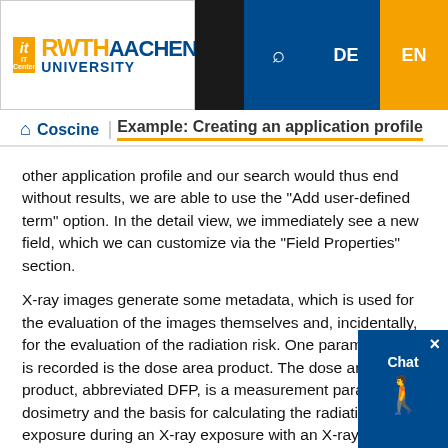RWTH Aachen University IT Center — Coscine / Example: Creating an application profile
other application profile and our search would thus end without results, we are able to use the "Add user-defined term" option. In the detail view, we immediately see a new field, which we can customize via the "Field Properties" section.
X-ray images generate some metadata, which is used for the evaluation of the images themselves and, incidentally, for the evaluation of the radiation risk. One parameter that is recorded is the dose area product. The dose area product, abbreviated DFP, is a measurement parameter in dosimetry and the basis for calculating the radiation exposure during an X-ray exposure with an X-ray de...
Background information: The search in Coscine is currently limited to NFDI4Ing terminology. As such it...